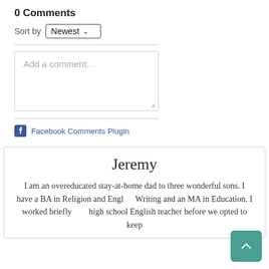0 Comments
Sort by Newest
[Figure (screenshot): Comment text input box with placeholder text 'Add a comment...' and resize handle]
Facebook Comments Plugin
Jeremy
I am an overeducated stay-at-home dad to three wonderful sons. I have a BA in Religion and English Writing and an MA in Education. I worked briefly as a high school English teacher before we opted to keep